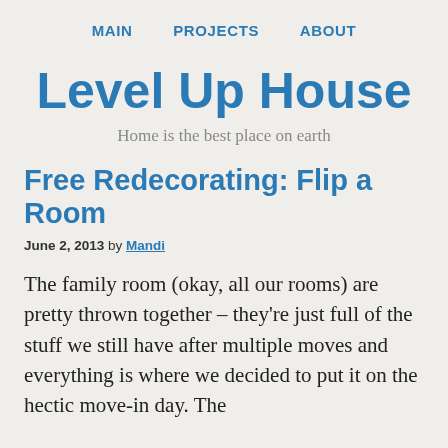MAIN   PROJECTS   ABOUT
Level Up House
Home is the best place on earth
Free Redecorating: Flip a Room
June 2, 2013 by Mandi
The family room (okay, all our rooms) are pretty thrown together – they're just full of the stuff we still have after multiple moves and everything is where we decided to put it on the hectic move-in day. The